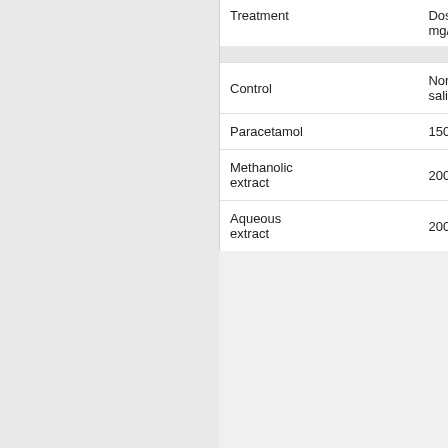| Treatment | Dosage mg/kg | Before yeast | 18h after | Temperature (°C)
30 m… |
| --- | --- | --- | --- | --- |
| Control | Normal saline | 37.3±0.1 | 37.8±0.1 | 38.0… |
| Paracetamol | 150 | 37.7±0.1 | 38.5±0.1 | 38.3… |
| Methanolic extract | 200 | 37.5±0.1 | 38.0±0.1 | 37.8… |
| Aqueous extract | 200 | 37.6±0.1 | 38.3±0.1 | 38.3… |
DISCUSSIONS: Plants have provided a source of inspiration for novel drug compounds as plants derived medicines have made significant contribution towards human health 32. Phytomedicine can be used for the treatment of diseases as is done in case of Unani and Ayurvedic system of medicines or it can be the…